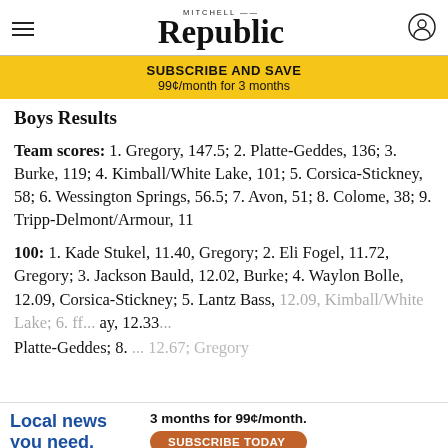Mitchell Republic
[Figure (infographic): Yellow subscribe banner: SUBSCRIBE AND SAVE 99¢/month for 3 months]
Boys Results
Team scores: 1. Gregory, 147.5; 2. Platte-Geddes, 136; 3. Burke, 119; 4. Kimball/White Lake, 101; 5. Corsica-Stickney, 58; 6. Wessington Springs, 56.5; 7. Avon, 51; 8. Colome, 38; 9. Tripp-Delmont/Armour, 11
100: 1. Kade Stukel, 11.40, Gregory; 2. Eli Fogel, 11.72, Gregory; 3. Jackson Bauld, 12.02, Burke; 4. Waylon Bolle, 12.09, Corsica-Stickney; 5. Lantz Bass, 12.09, Kimball/White Lake; 6. ... ay, 12.33 ... Platte-Geddes; 8. ... 12.67; Gregory
[Figure (infographic): Local news you need. 3 months for 99¢/month. SUBSCRIBE TODAY button.]